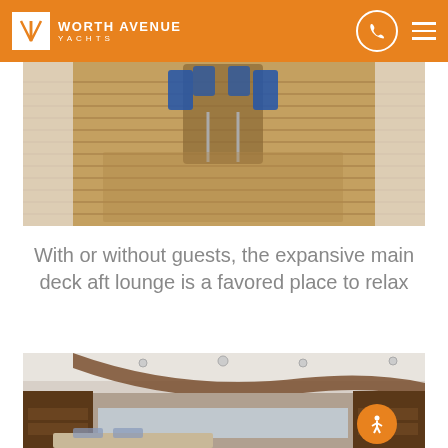Worth Avenue Yachts
[Figure (photo): Yacht main deck aft lounge with teak wood flooring, dining table and chairs with blue cushions, and white hull sides visible on either side.]
With or without guests, the expansive main deck aft lounge is a favored place to relax
[Figure (photo): Interior of yacht salon showing curved walnut wood ceiling feature, recessed lighting, shelving units, and seating area with ocean view through windows.]